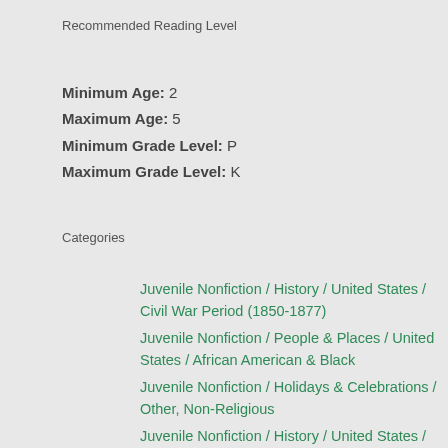Recommended Reading Level
Minimum Age: 2
Maximum Age: 5
Minimum Grade Level: P
Maximum Grade Level: K
Categories
Juvenile Nonfiction / History / United States / Civil War Period (1850-1877)
Juvenile Nonfiction / People & Places / United States / African American & Black
Juvenile Nonfiction / Holidays & Celebrations / Other, Non-Religious
Juvenile Nonfiction / History / United States / 19th Century